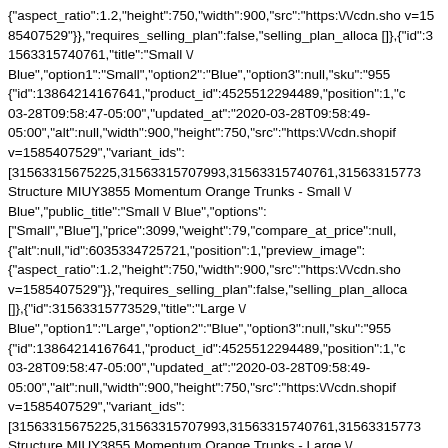{"aspect_ratio":1.2,"height":750,"width":900,"src":"https:\/\/cdn.sho v=1585407529"}},"requires_selling_plan":false,"selling_plan_alloca []},{"id":31563315740761,"title":"Small \/ Blue","option1":"Small","option2":"Blue","option3":null,"sku":"955 {"id":13864214167641,"product_id":4525512294489,"position":1,"c 03-28T09:58:47-05:00","updated_at":"2020-03-28T09:58:49-05:00","alt":null,"width":900,"height":750,"src":"https:\/\/cdn.shopif v=1585407529","variant_ids": [31563315675225,31563315707993,31563315740761,31563315773 Structure MIUY3855 Momentum Orange Trunks - Small \/ Blue","public_title":"Small \/ Blue","options": ["Small","Blue"],"price":3099,"weight":79,"compare_at_price":null, {"alt":null,"id":6035334725721,"position":1,"preview_image": {"aspect_ratio":1.2,"height":750,"width":900,"src":"https:\/\/cdn.sho v=1585407529"}},"requires_selling_plan":false,"selling_plan_alloca []},{"id":31563315773529,"title":"Large \/ Blue","option1":"Large","option2":"Blue","option3":null,"sku":"955 {"id":13864214167641,"product_id":4525512294489,"position":1,"c 03-28T09:58:47-05:00","updated_at":"2020-03-28T09:58:49-05:00","alt":null,"width":900,"height":750,"src":"https:\/\/cdn.shopif v=1585407529","variant_ids": [31563315675225,31563315707993,31563315740761,31563315773 Structure MIUY3855 Momentum Orange Trunks - Large \/ Blue","public_title":"Large \/ Blue","options": ["Large","Blue"],"price":3099,"weight":79,"compare_at_price":null, {"alt":null,"id":6035334725721,"position":1,"preview_image":